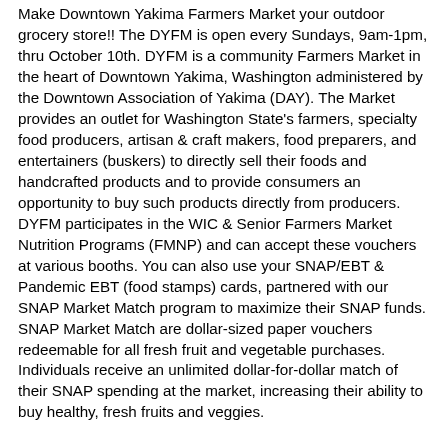Make Downtown Yakima Farmers Market your outdoor grocery store!! The DYFM is open every Sundays, 9am-1pm, thru October 10th. DYFM is a community Farmers Market in the heart of Downtown Yakima, Washington administered by the Downtown Association of Yakima (DAY). The Market provides an outlet for Washington State's farmers, specialty food producers, artisan & craft makers, food preparers, and entertainers (buskers) to directly sell their foods and handcrafted products and to provide consumers an opportunity to buy such products directly from producers. DYFM participates in the WIC & Senior Farmers Market Nutrition Programs (FMNP) and can accept these vouchers at various booths. You can also use your SNAP/EBT & Pandemic EBT (food stamps) cards, partnered with our SNAP Market Match program to maximize their SNAP funds. SNAP Market Match are dollar-sized paper vouchers redeemable for all fresh fruit and vegetable purchases. Individuals receive an unlimited dollar-for-dollar match of their SNAP spending at the market, increasing their ability to buy healthy, fresh fruits and veggies.